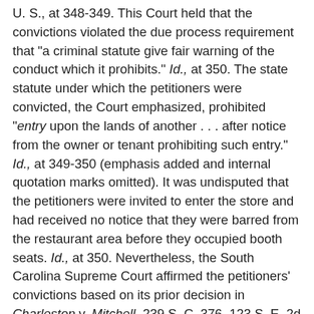U. S., at 348-349. This Court held that the convictions violated the due process requirement that "a criminal statute give fair warning of the conduct which it prohibits." Id., at 350. The state statute under which the petitioners were convicted, the Court emphasized, prohibited "entry upon the lands of another . . . after notice from the owner or tenant prohibiting such entry." Id., at 349-350 (emphasis added and internal quotation marks omitted). It was undisputed that the petitioners were invited to enter the store and had received no notice that they were barred from the restaurant area before they occupied booth seats. Id., at 350. Nevertheless, the South Carolina Supreme Court affirmed the petitioners' convictions based on its prior decision in Charleston v. Mitchell, 239 S. C. 376, 123 S. E. 2d 512 (1961). Bouie, 378 U. S., at 350, n. 2. The Mitchell decision, which the South Carolina Supreme Court found dispositive, was rendered 21 months after the petitioners' arrest. 378 U. S., at 348, 350, n. 2. Mitchell held that the trespass statute under which the